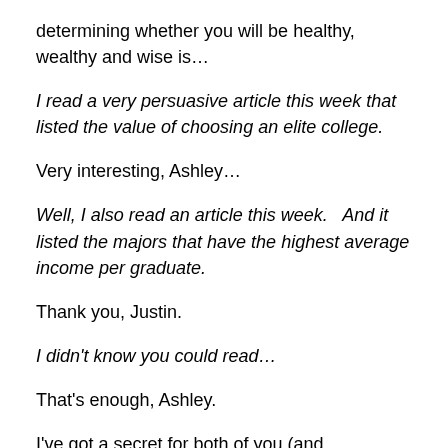determining whether you will be healthy, wealthy and wise is…
I read a very persuasive article this week that listed the value of choosing an elite college.
Very interesting, Ashley…
Well, I also read an article this week.   And it listed the majors that have the highest average income per graduate.
Thank you, Justin.
I didn't know you could read…
That's enough, Ashley.
I've got a secret for both of you (and, apparently for the